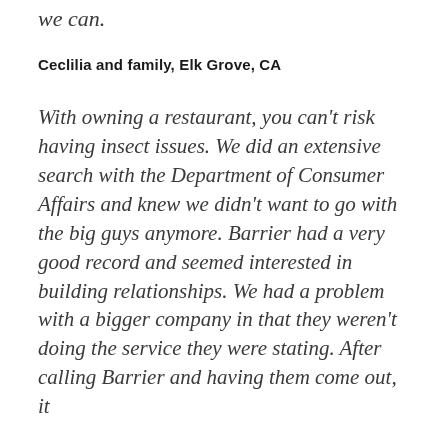we can.
Ceclilia and family, Elk Grove, CA
With owning a restaurant, you can't risk having insect issues. We did an extensive search with the Department of Consumer Affairs and knew we didn't want to go with the big guys anymore. Barrier had a very good record and seemed interested in building relationships. We had a problem with a bigger company in that they weren't doing the service they were stating. After calling Barrier and having them come out, it